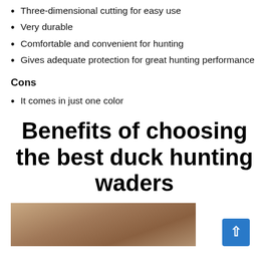Three-dimensional cutting for easy use
Very durable
Comfortable and convenient for hunting
Gives adequate protection for great hunting performance
Cons
It comes in just one color
Benefits of choosing the best duck hunting waders
[Figure (photo): Two hunters in camouflage gear in an outdoor/field setting]